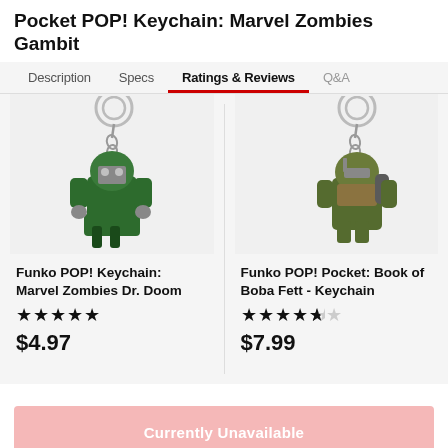Pocket POP! Keychain: Marvel Zombies Gambit
Description | Specs | Ratings & Reviews | Q&A
[Figure (photo): Funko POP! Keychain figure of Marvel Zombies Dr. Doom on a keyring, green hooded character]
Funko POP! Keychain: Marvel Zombies Dr. Doom
★★★★★
$4.97
[Figure (photo): Funko POP! Pocket figure of Boba Fett on a keyring, partially visible (right side cropped)]
Funko POP! Pocket: Book of Boba Fett - Keychain
★★★★½
$7.99
Currently Unavailable